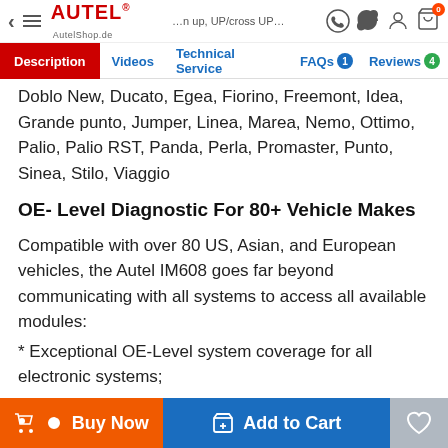Autel AutelShop.de — navigation header with Description, Videos, Technical Service, FAQs, Reviews tabs
Doblo New, Ducato, Egea, Fiorino, Freemont, Idea, Grande punto, Jumper, Linea, Marea, Nemo, Ottimo, Palio, Palio RST, Panda, Perla, Promaster, Punto, Sinea, Stilo, Viaggio
OE- Level Diagnostic For 80+ Vehicle Makes
Compatible with over 80 US, Asian, and European vehicles, the Autel IM608 goes far beyond communicating with all systems to access all available modules:
* Exceptional OE-Level system coverage for all electronic systems;
* Active Test for getting access to specific subsystems and performing component tests to drive the actuator so as to determine the integrity of the system or parts;
Buy Now | Add to Cart | Wishlist